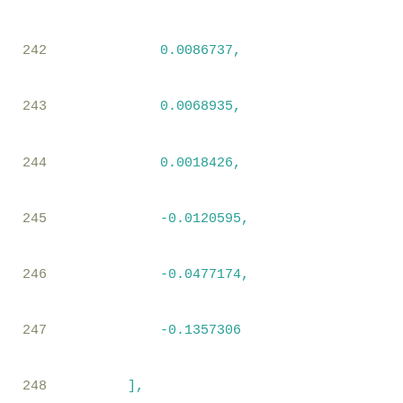242    0.0086737,
243    0.0068935,
244    0.0018426,
245    -0.0120595,
246    -0.0477174,
247    -0.1357306
248  ],
249  [
250    0.0090682,
251    0.0084219,
252    0.0066256,
253    0.0016158,
254    -0.0122569,
255    -0.0479269,
256    -0.1359378
257  ],
258  [
259    0.0088081,
260    0.0080673,
261    0.0063026,
262    0.0012901,